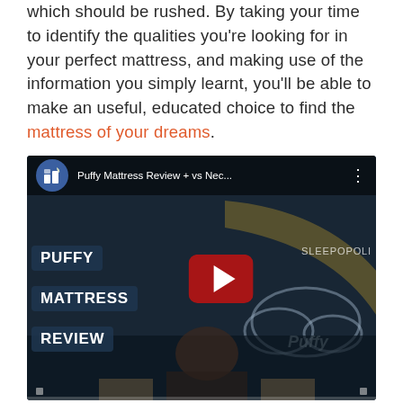which should be rushed. By taking your time to identify the qualities you're looking for in your perfect mattress, and making use of the information you simply learnt, you'll be able to make an useful, educated choice to find the mattress of your dreams.
[Figure (screenshot): YouTube video embed thumbnail showing 'Puffy Mattress Review + vs Nec...' with PUFFY MATTRESS REVIEW text badges on dark background, a play button, and a person in the lower portion. SLEEPOPOLI branding visible.]